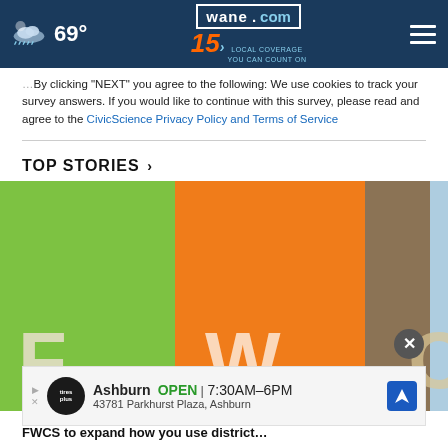69° wane.com 15 LOCAL COVERAGE YOU CAN COUNT ON
By clicking "NEXT" you agree to the following: We use cookies to track your survey answers. If you would like to continue with this survey, please read and agree to the CivicScience Privacy Policy and Terms of Service
TOP STORIES ›
[Figure (photo): Colorful panels with large letters F, W, C in green, orange, brown and blue — appears to be FWCS (Fort Wayne Community Schools) signage]
[Figure (other): Advertisement banner: Ashburn OPEN 7:30AM–6PM, 43781 Parkhurst Plaza, Ashburn, Tires Plus logo]
FWCS to expand how you use district...